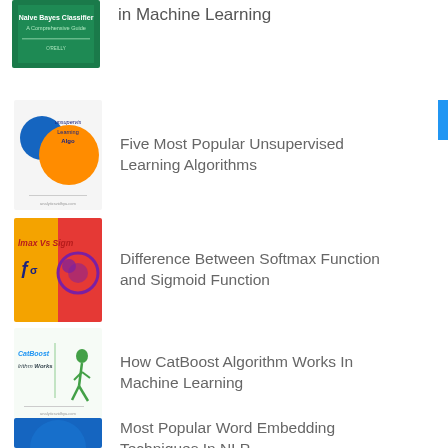[Figure (illustration): Green book cover partially visible at top - Naive Bayes classifier book]
in Machine Learning
[Figure (illustration): Book thumbnail with blue/orange figure and text 'unsupervised Learning Algo']
Five Most Popular Unsupervised Learning Algorithms
[Figure (illustration): Yellow and red thumbnail with text 'lmax Vs Sigm' and symbols]
Difference Between Softmax Function and Sigmoid Function
[Figure (illustration): White background thumbnail with CatBoost text and running figure]
How CatBoost Algorithm Works In Machine Learning
[Figure (illustration): Blue thumbnail with cityscape and text 'Word Embedding Techni']
Most Popular Word Embedding Techniques In NLP